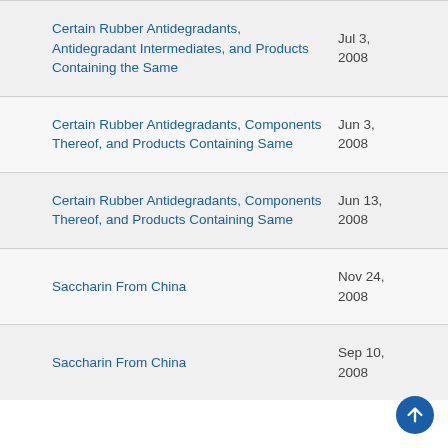| Title | Date |
| --- | --- |
| Certain Rubber Antidegradants, Antidegradant Intermediates, and Products Containing the Same | Jul 3, 2008 |
| Certain Rubber Antidegradants, Components Thereof, and Products Containing Same | Jun 3, 2008 |
| Certain Rubber Antidegradants, Components Thereof, and Products Containing Same | Jun 13, 2008 |
| Saccharin From China | Nov 24, 2008 |
| Saccharin From China | Sep 10, 2008 |